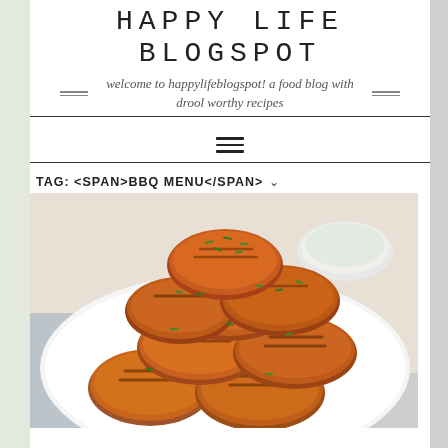HAPPY LIFE BLOGSPOT
welcome to happylifeblogspot! a food blog with drool worthy recipes
[Figure (other): Hamburger menu icon (three horizontal lines)]
TAG: <SPAN>BBQ MENU</SPAN>
[Figure (photo): Plate of grilled sweet potato slices topped with chopped chives, stacked high on a white plate with a bowl of dipping sauce visible in the background]